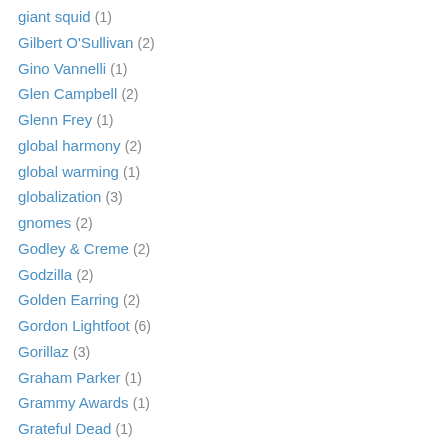giant squid (1)
Gilbert O'Sullivan (2)
Gino Vannelli (1)
Glen Campbell (2)
Glenn Frey (1)
global harmony (2)
global warming (1)
globalization (3)
gnomes (2)
Godley & Creme (2)
Godzilla (2)
Golden Earring (2)
Gordon Lightfoot (6)
Gorillaz (3)
Graham Parker (1)
Grammy Awards (1)
Grateful Dead (1)
gratitude (5)
greed (5)
Greg Kihn Band (3)